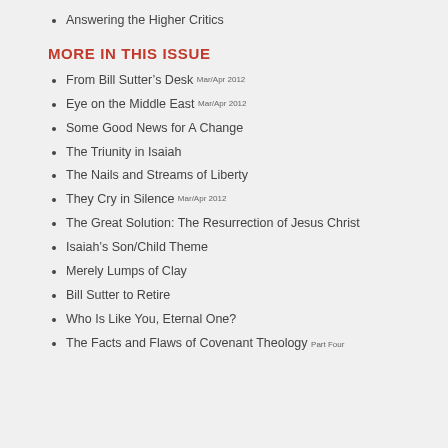Answering the Higher Critics
MORE IN THIS ISSUE
From Bill Sutter's Desk Mar/Apr 2012
Eye on the Middle East Mar/Apr 2012
Some Good News for A Change
The Triunity in Isaiah
The Nails and Streams of Liberty
They Cry in Silence Mar/Apr 2012
The Great Solution: The Resurrection of Jesus Christ
Isaiah's Son/Child Theme
Merely Lumps of Clay
Bill Sutter to Retire
Who Is Like You, Eternal One?
The Facts and Flaws of Covenant Theology Part Four